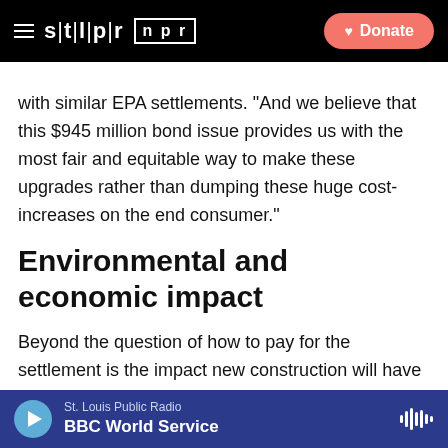STLPR NPR — Donate
with similar EPA settlements. "And we believe that this $945 million bond issue provides us with the most fair and equitable way to make these upgrades rather than dumping these huge cost-increases on the end consumer."
Environmental and economic impact
Beyond the question of how to pay for the settlement is the impact new construction will have on the environment, said Missouri Coalition for the Environment director Kathleen Logan Smith. Smith's group was involved in the lawsuit that sparked the
St. Louis Public Radio — BBC World Service